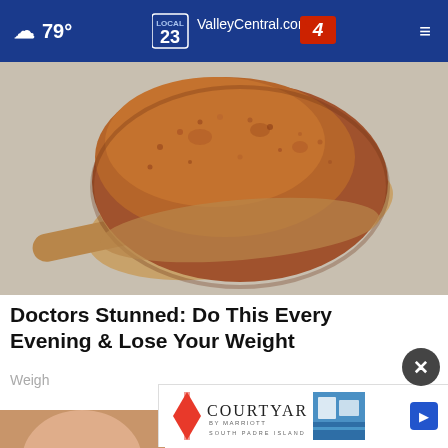☁ 79° | ValleyCentral.com Local 23 | Menu
[Figure (photo): Close-up photo of a wooden spoon heaped with fine reddish-brown spice powder (likely cinnamon or similar ground spice), on a light stone background]
Doctors Stunned: Do This Every Evening & Lose Your Weight
Weigh
[Figure (logo): Courtyard by Marriott South Padre Island advertisement banner with logo and play button]